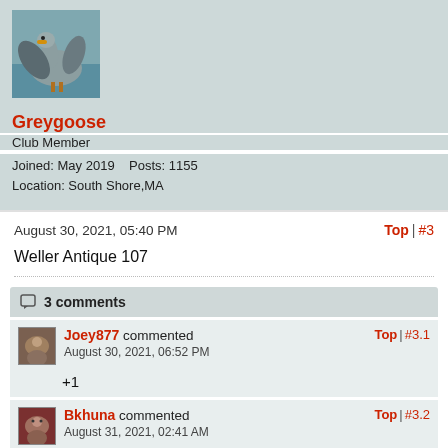[Figure (photo): Profile photo of a grey goose with wings spread, standing near water]
Greygoose
Club Member
Joined: May 2019    Posts: 1155
Location: South Shore,MA
August 30, 2021, 05:40 PM
Top | #3
Weller Antique 107
3 comments
Joey877 commented
August 30, 2021, 06:52 PM
Top | #3.1
+1
Bkhuna commented
August 31, 2021, 02:41 AM
Top | #3.2